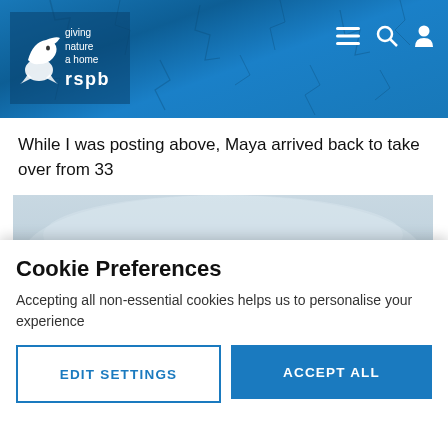RSPB — giving nature a home
While I was posting above, Maya arrived back to take over from 33
[Figure (photo): Two ospreys perched on a large nest made of sticks and vegetation, photographed in misty/foggy conditions with a pale grey sky behind them.]
Cookie Preferences
Accepting all non-essential cookies helps us to personalise your experience
EDIT SETTINGS
ACCEPT ALL